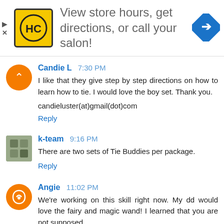[Figure (infographic): Advertisement banner: HC logo (yellow square with HC letters), text 'View store hours, get directions, or call your salon!', blue diamond navigation icon. Left side has play and X controls.]
Candie L  7:30 PM
I like that they give step by step directions on how to learn how to tie. I would love the boy set. Thank you.

candieluster(at)gmail(dot)com
Reply
k-team  9:16 PM
There are two sets of Tie Buddies per package.
Reply
Angie  11:02 PM
We're working on this skill right now. My dd would love the fairy and magic wand! I learned that you are not supposed